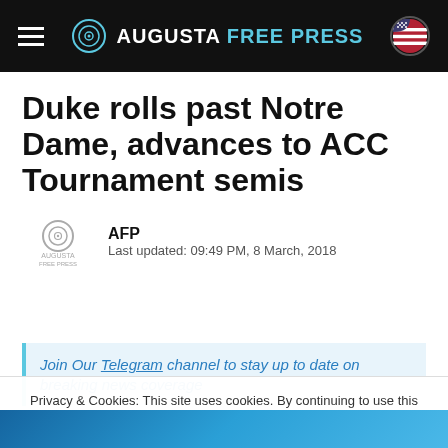AUGUSTA FREE PRESS
Duke rolls past Notre Dame, advances to ACC Tournament semis
AFP
Last updated: 09:49 PM, 8 March, 2018
Join Our Telegram channel to stay up to date on breaking news coverage
Privacy & Cookies: This site uses cookies. By continuing to use this website, you agree to their use. To find out more, including how to control cookies, see here: Cookie Policy
Close and accept